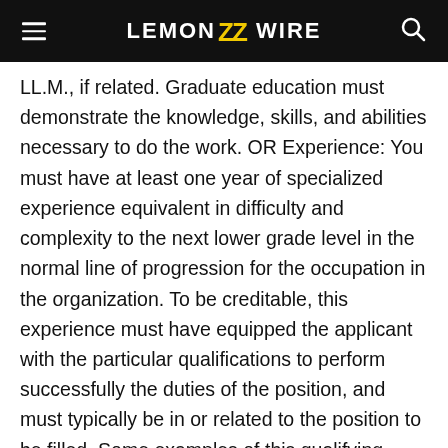LEMON WIRE
LL.M., if related. Graduate education must demonstrate the knowledge, skills, and abilities necessary to do the work. OR Experience: You must have at least one year of specialized experience equivalent in difficulty and complexity to the next lower grade level in the normal line of progression for the occupation in the organization. To be creditable, this experience must have equipped the applicant with the particular qualifications to perform successfully the duties of the position, and must typically be in or related to the position to be filled. Some examples of this qualifying specialized experience are: Experience in performing diagnostics on Trust Fund Systems to determine the effectiveness of security controls and procedures.
Experience with the management of the cost center for the